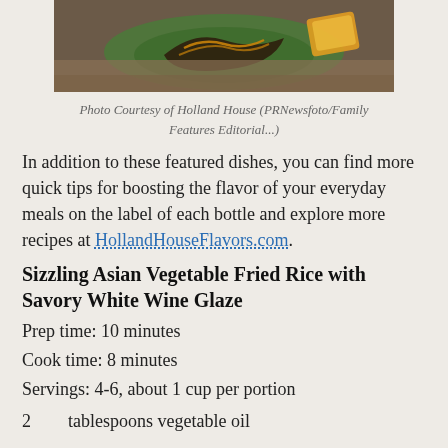[Figure (photo): Food photo showing a lettuce wrap filled with glazed Asian-style meat on a wooden cutting board, with orange garnish.]
Photo Courtesy of Holland House (PRNewsfoto/Family Features Editorial...)
In addition to these featured dishes, you can find more quick tips for boosting the flavor of your everyday meals on the label of each bottle and explore more recipes at HollandHouseFlavors.com.
Sizzling Asian Vegetable Fried Rice with Savory White Wine Glaze
Prep time: 10 minutes
Cook time: 8 minutes
Servings: 4-6, about 1 cup per portion
2      tablespoons vegetable oil